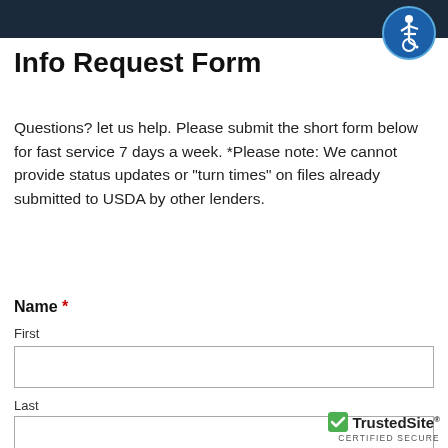Info Request Form
Questions? let us help. Please submit the short form below for fast service 7 days a week. *Please note: We cannot provide status updates or "turn times" on files already submitted to USDA by other lenders.
Name *
First
Last